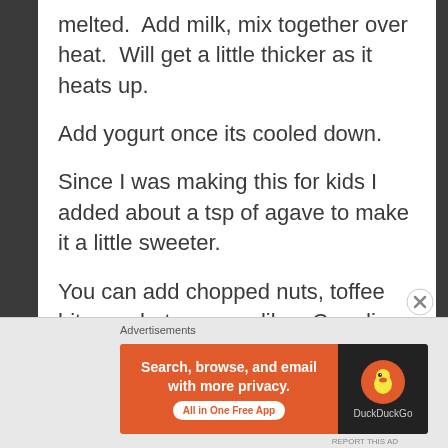melted.  Add milk, mix together over heat.  Will get a little thicker as it heats up.
Add yogurt once its cooled down.
Since I was making this for kids I added about a tsp of agave to make it a little sweeter.
You can add chopped nuts, toffee bits or whatever you like.  Can dip anything in it.  Shortbread is amazing!
[Figure (screenshot): DuckDuckGo advertisement banner with orange background reading 'Search, browse, and email with more privacy. All in One Free App' with DuckDuckGo logo on dark background]